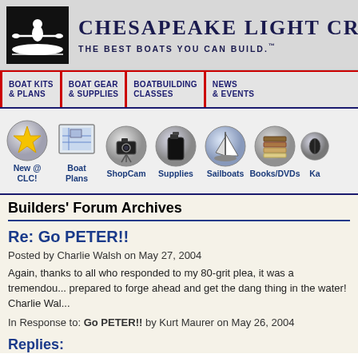Chesapeake Light Cr — The Best Boats You Can Build.
[Figure (logo): Black box with silhouette of person in kayak, white figure]
[Figure (screenshot): Navigation bar with: BOAT KITS & PLANS | BOAT GEAR & SUPPLIES | BOATBUILDING CLASSES | NEWS & EVENTS]
[Figure (infographic): Icon row with icons: New @ CLC! (gold star), Boat Plans (blueprint), ShopCam (camera), Supplies (jug), Sailboats (sailboat), Books/DVDs (books), Ka... (partial, kayak)]
Builders' Forum Archives
Re: Go PETER!!
Posted by Charlie Walsh on May 27, 2004
Again, thanks to all who responded to my 80-grit plea, it was a tremendou... prepared to forge ahead and get the dang thing in the water! Charlie Wal...
In Response to: Go PETER!! by Kurt Maurer on May 26, 2004
Replies: